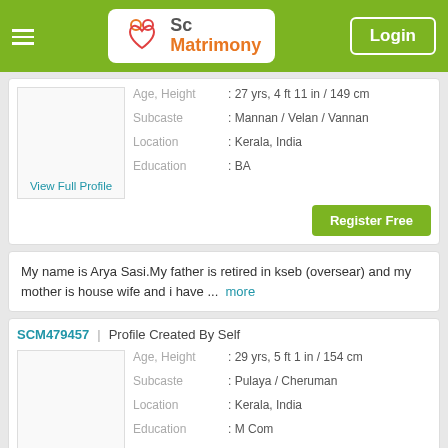Sc Matrimony | Login
Age, Height : 27 yrs, 4 ft 11 in / 149 cm | Subcaste : Mannan / Velan / Vannan | Location : Kerala, India | Education : BA
View Full Profile
Register Free
My name is Arya Sasi.My father is retired in kseb (oversear) and my mother is house wife and i have ... more
SCM479457 | Profile Created By Self
Age, Height : 29 yrs, 5 ft 1 in / 154 cm | Subcaste : Pulaya / Cheruman | Location : Kerala, India | Education : M Com | Occupation : Officer
View Full Profile
Register Free